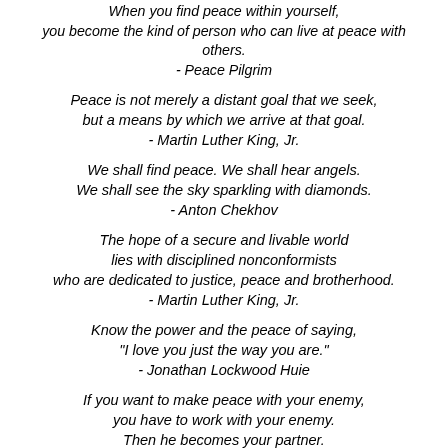When you find peace within yourself, you become the kind of person who can live at peace with others. - Peace Pilgrim
Peace is not merely a distant goal that we seek, but a means by which we arrive at that goal. - Martin Luther King, Jr.
We shall find peace. We shall hear angels. We shall see the sky sparkling with diamonds. - Anton Chekhov
The hope of a secure and livable world lies with disciplined nonconformists who are dedicated to justice, peace and brotherhood. - Martin Luther King, Jr.
Know the power and the peace of saying, "I love you just the way you are." - Jonathan Lockwood Huie
If you want to make peace with your enemy, you have to work with your enemy. Then he becomes your partner. - Nelson Mandela